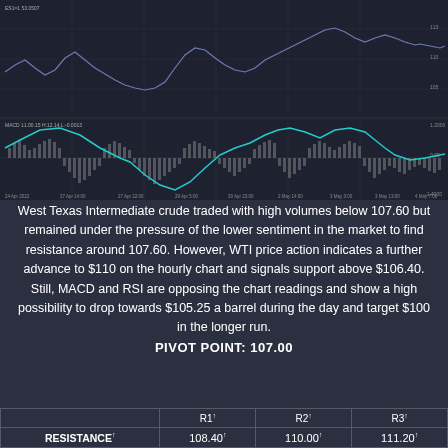[Figure (continuous-plot): WTI crude oil price chart showing price line and MACD/RSI oscillator panel below, covering late April to early May timeframe with teal/cyan oscillator line and bar histogram]
West Texas Intermediate crude traded with high volumes below 107.60 but remained under the pressure of the lower sentiment in the market to find resistance around 107.60. However, WTI price action indicates a further advance to $110 on the hourly chart and signals support above $106.40. Still, MACD and RSI are opposing the chart readings and show a high possibility to drop towards $105.25 a barrel during the day and target $100 in the longer run.
PIVOT POINT: 107.00
|  | R1 | R2 | R3 |
| --- | --- | --- | --- |
| RESISTANCE | 108.40 | 110.00 | 111.20 |